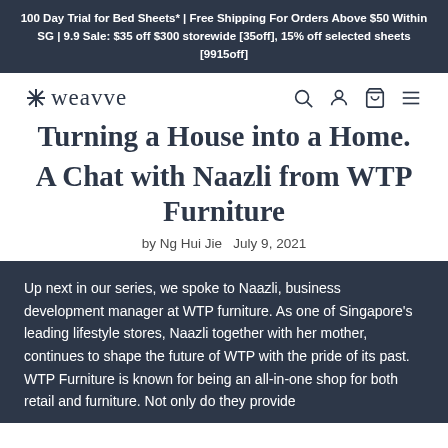100 Day Trial for Bed Sheets* | Free Shipping For Orders Above $50 Within SG | 9.9 Sale: $35 off $300 storewide [35off], 15% off selected sheets [9915off]
[Figure (logo): Weavve logo with asterisk/snowflake icon followed by the word 'weavve' in serif font, with search, account, cart, and menu icons on the right]
Turning a House into a Home: A Chat with Naazli from WTP Furniture
by Ng Hui Jie   July 9, 2021
Up next in our series, we spoke to Naazli, business development manager at WTP furniture. As one of Singapore's leading lifestyle stores, Naazli together with her mother, continues to shape the future of WTP with the pride of its past. WTP Furniture is known for being an all-in-one shop for both retail and furniture. Not only do they provide